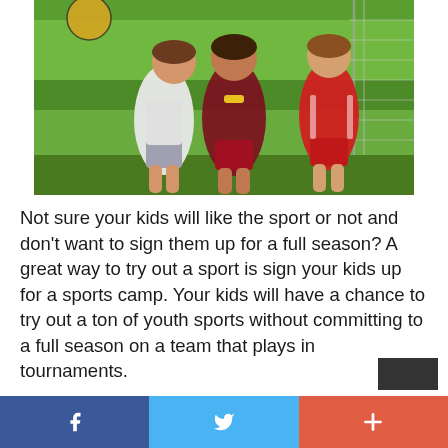[Figure (photo): Three boys in soccer uniforms running and laughing in front of a goal net, with a soccer ball visible in the upper left. One wears white/grey, one wears dark red/maroon, one wears red.]
Not sure your kids will like the sport or not and don't want to sign them up for a full season? A great way to try out a sport is sign your kids up for a sports camp. Your kids will have a chance to try out a ton of youth sports without committing to a full season on a team that plays in tournaments.